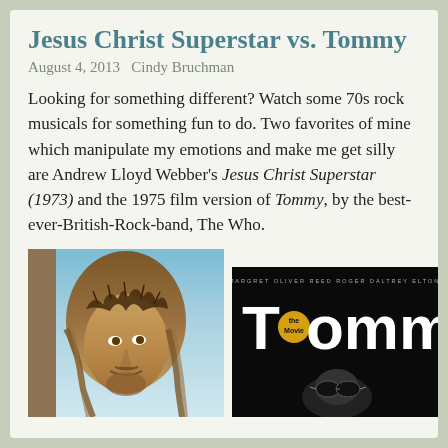Jesus Christ Superstar vs. Tommy
August 4, 2013   Cindy Bruchman
Looking for something different? Watch some 70s rock musicals for something fun to do. Two favorites of mine which manipulate my emotions and make me get silly are Andrew Lloyd Webber's Jesus Christ Superstar (1973) and the 1975 film version of Tommy, by the best-ever-British-Rock-band, The Who.
[Figure (photo): A man with long hair wearing a crown of thorns, likely from the Jesus Christ Superstar film (1973)]
[Figure (photo): Tommy the Movie poster with black background showing cast names ANN-MARGRET, OLIVER REED, ROGER DALTREY, ELTON JOHN and the Tommy logo with 'the Movie' badge]